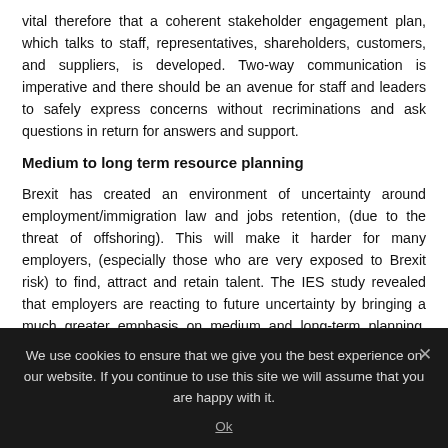vital therefore that a coherent stakeholder engagement plan, which talks to staff, representatives, shareholders, customers, and suppliers, is developed. Two-way communication is imperative and there should be an avenue for staff and leaders to safely express concerns without recriminations and ask questions in return for answers and support.
Medium to long term resource planning
Brexit has created an environment of uncertainty around employment/immigration law and jobs retention, (due to the threat of offshoring). This will make it harder for many employers, (especially those who are very exposed to Brexit risk) to find, attract and retain talent. The IES study revealed that employers are reacting to future uncertainty by bringing a much greater emphasis on medium and long-term planning. They are analysing skills needs and numbers for the future at a
We use cookies to ensure that we give you the best experience on our website. If you continue to use this site we will assume that you are happy with it.